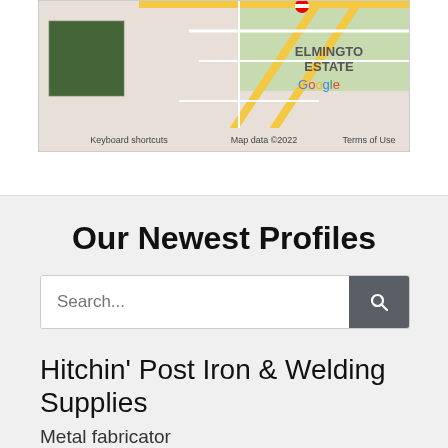[Figure (map): Google Maps partial view showing Elmington Estate area with roads and satellite thumbnail. Footer shows: Keyboard shortcuts, Map data ©2022, Terms of Use]
Our Newest Profiles
Search...
Hitchin' Post Iron & Welding Supplies
Metal fabricator
Sierra Vista, Arizona